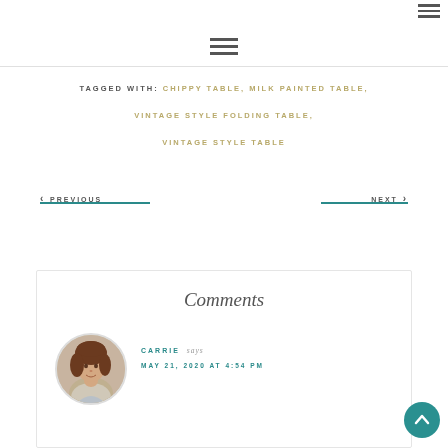≡ (hamburger menu top right)
≡ (hamburger menu center)
TAGGED WITH: CHIPPY TABLE, MILK PAINTED TABLE, VINTAGE STYLE FOLDING TABLE, VINTAGE STYLE TABLE
‹ PREVIOUS
NEXT ›
Comments
CARRIE says
MAY 21, 2020 AT 4:54 PM